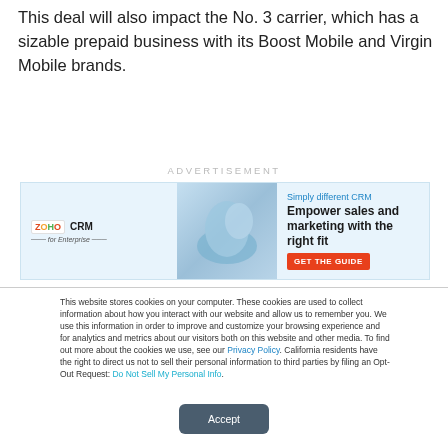This deal will also impact the No. 3 carrier, which has a sizable prepaid business with its Boost Mobile and Virgin Mobile brands.
[Figure (screenshot): Advertisement banner for Zoho CRM for Enterprise with tagline 'Simply different CRM', headline 'Empower sales and marketing with the right fit', and a red 'GET THE GUIDE' button]
This website stores cookies on your computer. These cookies are used to collect information about how you interact with our website and allow us to remember you. We use this information in order to improve and customize your browsing experience and for analytics and metrics about our visitors both on this website and other media. To find out more about the cookies we use, see our Privacy Policy. California residents have the right to direct us not to sell their personal information to third parties by filing an Opt-Out Request: Do Not Sell My Personal Info.
Accept